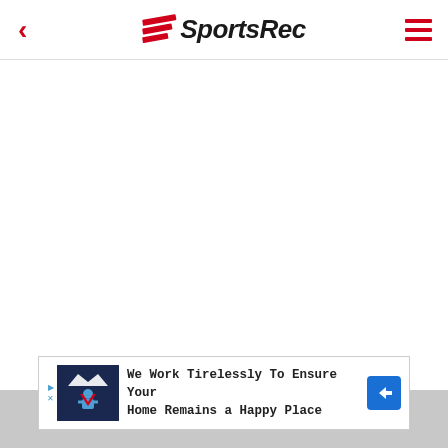SportsRec
[Figure (other): White blank content area]
[Figure (other): Advertisement banner: We Work Tirelessly To Ensure Your Home Remains a Happy Place]